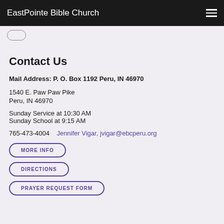EastPointe Bible Church
Contact Us
Mail Address: P. O. Box 1192 Peru, IN 46970
1540 E. Paw Paw Pike
Peru, IN 46970
Sunday Service at 10:30 AM
Sunday School at 9:15 AM
765-473-4004    Jennifer Vigar, jvigar@ebcperu.org
MORE INFO
DIRECTIONS
PRAYER REQUEST FORM